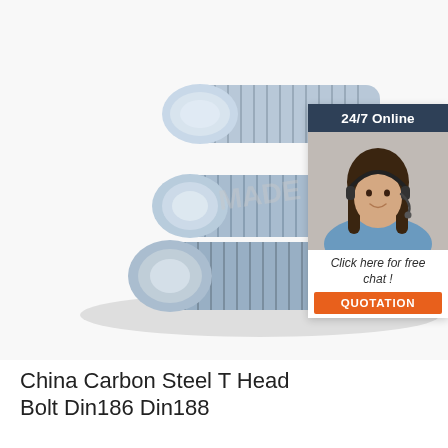[Figure (photo): Three silver/zinc-plated countersunk flat-head wood screws (self-tapping) arranged diagonally on a white background. A customer service chat widget overlays the top-right corner showing '24/7 Online', a woman with a headset, 'Click here for free chat!' text, and an orange QUOTATION button.]
China Carbon Steel T Head Bolt Din186 Din188